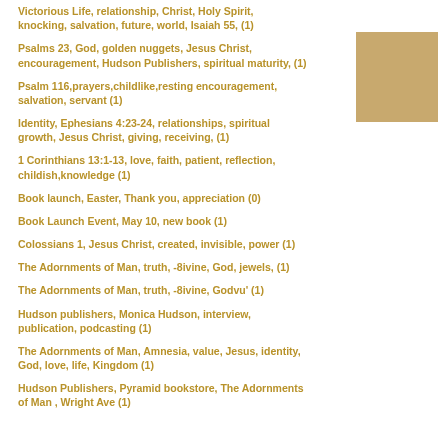Victorious Life, relationship, Christ, Holy Spirit, knocking, salvation, future, world, Isaiah 55, (1)
Psalms 23, God, golden nuggets, Jesus Christ, encouragement, Hudson Publishers, spiritual maturity, (1)
Psalm 116,prayers,childlike,resting encouragement, salvation, servant (1)
Identity, Ephesians 4:23-24, relationships, spiritual growth, Jesus Christ, giving, receiving, (1)
1 Corinthians 13:1-13, love, faith, patient, reflection, childish,knowledge (1)
Book launch, Easter, Thank you, appreciation (0)
Book Launch Event, May 10, new book (1)
Colossians 1, Jesus Christ, created, invisible, power (1)
The Adornments of Man, truth, -8ivine, God, jewels, (1)
The Adornments of Man, truth, -8ivine, Godvu' (1)
Hudson publishers, Monica Hudson, interview, publication, podcasting (1)
The Adornments of Man, Amnesia, value, Jesus, identity, God, love, life, Kingdom (1)
Hudson Publishers, Pyramid bookstore, The Adornments of Man , Wright Ave (1)
[Figure (illustration): Tan/beige colored square thumbnail image in upper right corner]